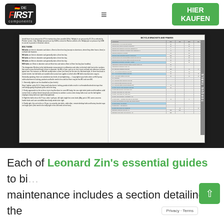[Figure (logo): First Components logo with German flag DE indicator and HIER KAUFEN green button]
[Figure (photo): Open book showing two pages: left page with bolt size guide text, right page with torque table for bicycle brackets and frames]
Each of Leonard Zin's essential guides to bicycle maintenance includes a section detailing the